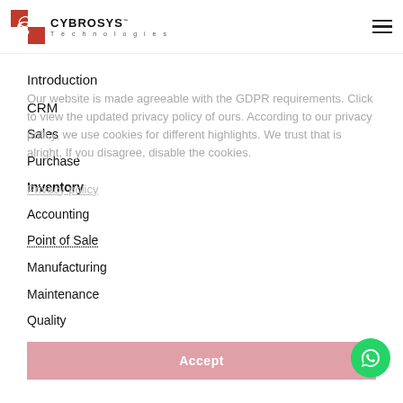CYBROSYS Technologies — navigation logo and hamburger menu
Introduction
CRM
Sales
Purchase
Inventory
Accounting
Point of Sale
Manufacturing
Maintenance
Quality
Product Lifecycle Management
Our website is made agreeable with the GDPR requirements. Click to view the updated privacy policy of ours. According to our privacy policy, we use cookies for different highlights. We trust that is alright, If you disagree, disable the cookies.
Privacy policy
Accept